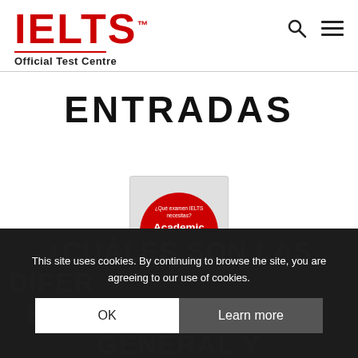IELTS Official Test Centre
ENTRADAS
[Figure (illustration): Red circle badge on light grey background with text '¿Qué examen IELTS necesitas?' and 'Academic • General' in white bold text]
¿CUÁLES SON LAS DIFERENCIAS ENTRE EL EXAMEN ACADEMIC Y GENERAL
This site uses cookies. By continuing to browse the site, you are agreeing to our use of cookies.
OK   Learn more